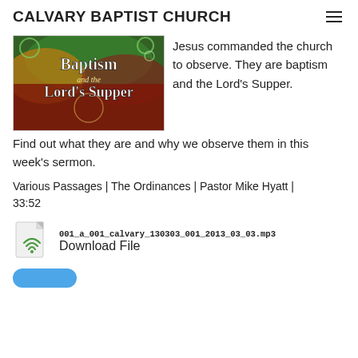CALVARY BAPTIST CHURCH
[Figure (illustration): Book/sermon graphic showing 'Baptism and the Lord's Supper' text on a colorful decorative background with green and red tones]
Jesus commanded the church to observe. They are baptism and the Lord's Supper. Find out what they are and why we observe them in this week's sermon.
Various Passages | The Ordinances | Pastor Mike Hyatt | 33:52
001_a_001_calvary_130303_001_2013_03_03.mp3
Download File